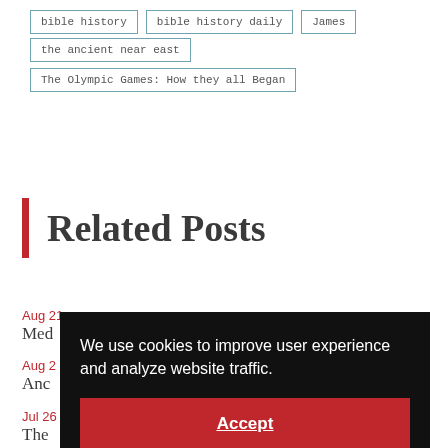bible history
bible history daily
James
the ancient near east
The Olympic Games: How they all Began
Related Posts
Aug 21
Med...
Aug 2
Anc...
Jul 26
The...
Jul 17
The Oracle of Delphi - Was She...
We use cookies to improve user experience and analyze website traffic.
Accept